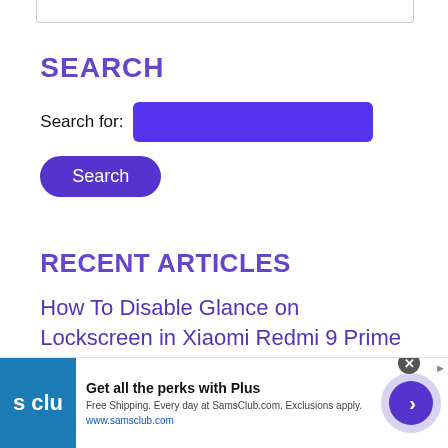[Figure (screenshot): Top border of a web widget/card element]
SEARCH
Search for: [input field]
Search [button]
RECENT ARTICLES
How To Disable Glance on Lockscreen in Xiaomi Redmi 9 Prime
[Figure (screenshot): Advertisement banner for Sam's Club: 'Get all the perks with Plus. Free Shipping. Every day at SamsClub.com. Exclusions apply. www.samsclub.com']